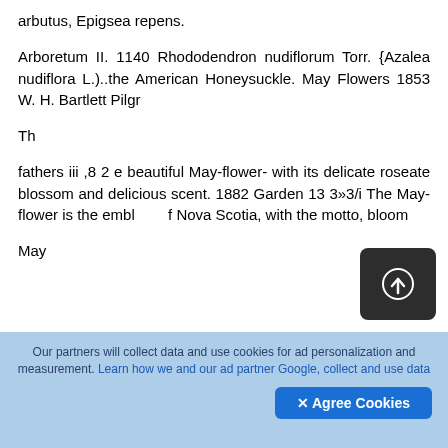arbutus, Epigsea repens.
Arboretum II. 1140 Rhododendron nudiflorum Torr. {Azalea nudiflora L.)..the American Honeysuckle. May Flowers 1853 W. H. Bartlett Pilgr
Th
fathers iii ,8 2 e beautiful May-flower- with its delicate roseate blossom and delicious scent. 1882 Garden 13 3»3/i The May-flower is the embl  f Nova Scotia, with the motto, bloom
May
[Figure (other): Upload/action button icon — dark rounded square with a circled upward arrow]
Our partners will collect data and use cookies for ad personalization and measurement. Learn how we and our ad partner Google, collect and use data  ✕ Agree Cookies